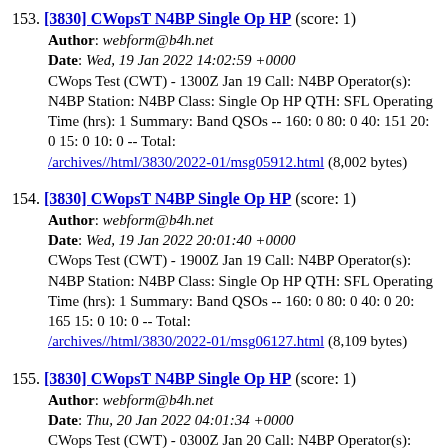153. [3830] CWopsT N4BP Single Op HP (score: 1) Author: webform@b4h.net Date: Wed, 19 Jan 2022 14:02:59 +0000 CWops Test (CWT) - 1300Z Jan 19 Call: N4BP Operator(s): N4BP Station: N4BP Class: Single Op HP QTH: SFL Operating Time (hrs): 1 Summary: Band QSOs -- 160: 0 80: 0 40: 151 20: 0 15: 0 10: 0 -- Total: /archives//html/3830/2022-01/msg05912.html (8,002 bytes)
154. [3830] CWopsT N4BP Single Op HP (score: 1) Author: webform@b4h.net Date: Wed, 19 Jan 2022 20:01:40 +0000 CWops Test (CWT) - 1900Z Jan 19 Call: N4BP Operator(s): N4BP Station: N4BP Class: Single Op HP QTH: SFL Operating Time (hrs): 1 Summary: Band QSOs -- 160: 0 80: 0 40: 0 20: 165 15: 0 10: 0 -- Total: /archives//html/3830/2022-01/msg06127.html (8,109 bytes)
155. [3830] CWopsT N4BP Single Op HP (score: 1) Author: webform@b4h.net Date: Thu, 20 Jan 2022 04:01:34 +0000 CWops Test (CWT) - 0300Z Jan 20 Call: N4BP Operator(s): N4BP Station: N4BP Class: Single Op HP QTH: SFL Operating Time (hrs): 1 Summary: Band QSOs -- 160: 0 80: